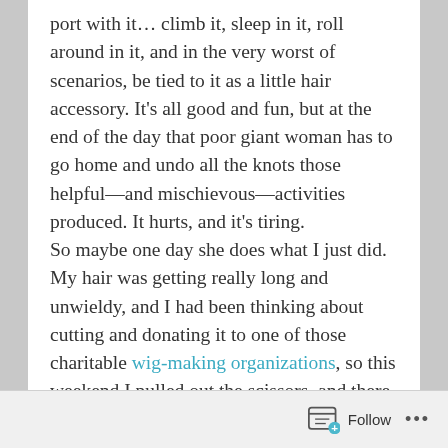port with it… climb it, sleep in it, roll around in it, and in the very worst of scenarios, be tied to it as a little hair accessory. It's all good and fun, but at the end of the day that poor giant woman has to go home and undo all the knots those helpful—and mischievous—activities produced. It hurts, and it's tiring.
So maybe one day she does what I just did.
My hair was getting really long and unwieldy, and I had been thinking about cutting and donating it to one of those charitable wig-making organizations, so this weekend I pulled out the scissors, and there it went. See ya, hair! Do good out there.
Follow ...